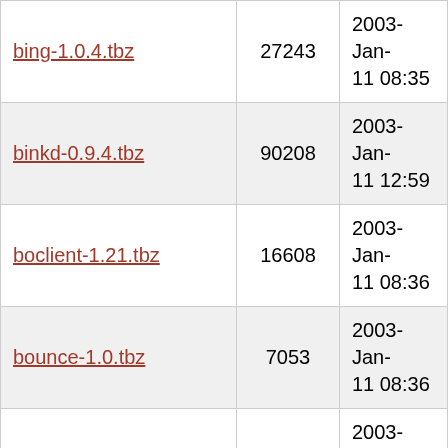| Filename | Size | Date |
| --- | --- | --- |
| bing-1.0.4.tbz | 27243 | 2003-Jan-11 08:35 |
| binkd-0.9.4.tbz | 90208 | 2003-Jan-11 12:59 |
| boclient-1.21.tbz | 16608 | 2003-Jan-11 08:36 |
| bounce-1.0.tbz | 7053 | 2003-Jan-11 08:36 |
| bsd-airtools-0.2.tbz | 94069 | 2003-Jan-11 08:37 |
| ccmsn-0.3p3.tbz | 27179 | 2003-Jan-18 02:34 |
| cdpd-1.0.2.tbz | 14741 | 2003-Jan-12 09:23 |
| cdpr-1.0.7.tbz | 10148 | 2003-Jan-11 08:38 |
| centericq-4.9.0.tbz | 1084914 | 2003-Jan-14 04:49 |
| cfgstoragemk-1.0.tbz | 6305 | 2003-Jan-13 05:07 |
| choparp-971007.tbz | 8588 | 2003-Jan-11 08:39 |